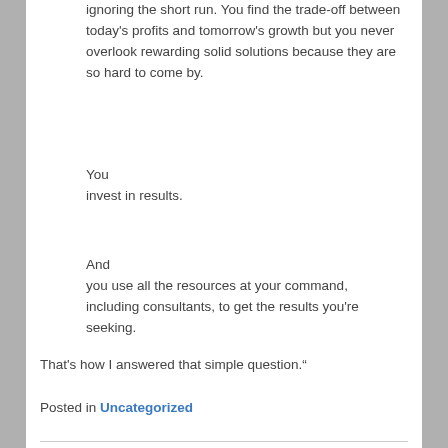ignoring the short run. You find the trade-off between today's profits and tomorrow's growth but you never overlook rewarding solid solutions because they are so hard to come by.
You
invest in results.
And
you use all the resources at your command, including consultants, to get the results you're seeking.
That's how I answered that simple question.”
Posted in Uncategorized